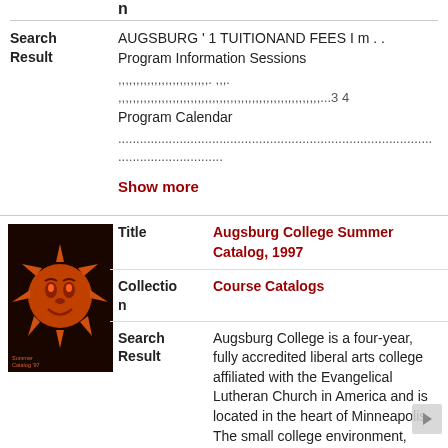n
Search Result
AUGSBURG ' 1 TUITIONAND FEES I m . . Program Information Sessions ,,,,,,,,,,,,,,,,,,,,,,,,,. ,,,. .,,,,,,,,,,,,,,,,,,,,,,,,,,,,,,,,,,,,,,,,,,,,,,,,,,,,,,,,...3 4 Program Calendar ......................................................................................
Show more
[Figure (photo): Book cover of Augsburg College Summer Catalog 1997 with an orange sun face illustration on dark background]
Title
Augsburg College Summer Catalog, 1997
Collection
Course Catalogs
Search Result
Augsburg College is a four-year, fully accredited liberal arts college affiliated with the Evangelical Lutheran Church in America and is located in the heart of Minneapolis. The small college environment,